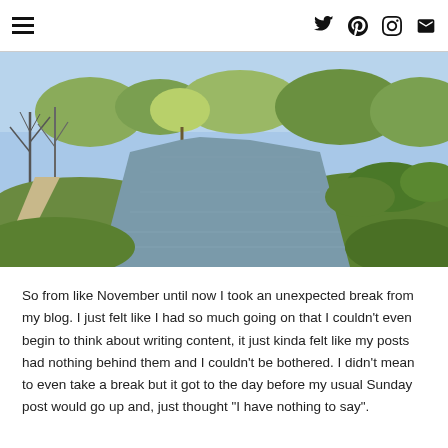[hamburger menu icon] [twitter icon] [pinterest icon] [instagram icon] [email icon]
[Figure (photo): Outdoor nature photograph of a calm river or canal running through a green landscape with bare and leafy trees on both sides under a clear blue sky, with a dirt path visible on the left bank.]
So from like November until now I took an unexpected break from my blog. I just felt like I had so much going on that I couldn't even begin to think about writing content, it just kinda felt like my posts had nothing behind them and I couldn't be bothered. I didn't mean to even take a break but it got to the day before my usual Sunday post would go up and, just thought "I have nothing to say".